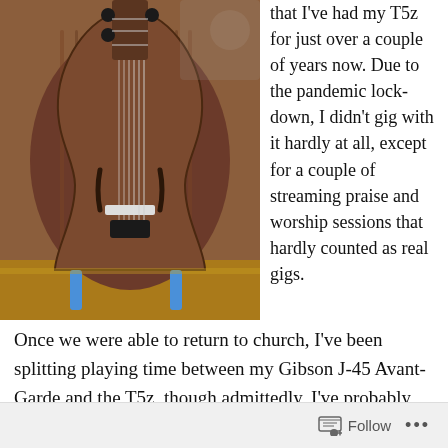[Figure (photo): Close-up photograph of an acoustic-electric guitar (Taylor T5z) with a wood grain body, f-holes, strings visible, resting on a guitar stand on a wooden surface.]
that I've had my T5z for just over a couple of years now. Due to the pandemic lockdown, I didn't gig with it hardly at all, except for a couple of streaming praise and worship sessions that hardly counted as real gigs.
Once we were able to return to church, I've been splitting playing time between my Gibson J-45 Avant-Garde and the T5z, though admittedly, I've probably used the T5z
Follow ...